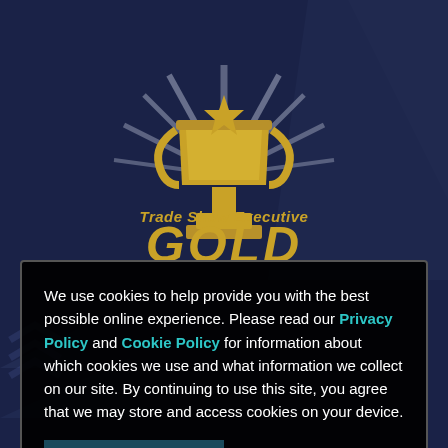[Figure (logo): Trade Show Executive Gold award trophy logo — a gold trophy with radiating silver rays on a dark navy background, with the text 'Trade Show Executive GOLD' in gold italic lettering]
We use cookies to help provide you with the best possible online experience. Please read our Privacy Policy and Cookie Policy for information about which cookies we use and what information we collect on our site. By continuing to use this site, you agree that we may store and access cookies on your device.
I AGREE